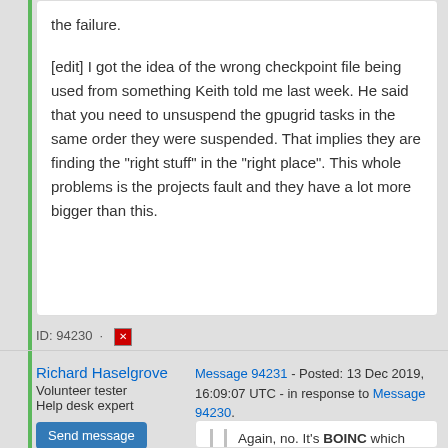the failure.

[edit] I got the idea of the wrong checkpoint file being used from something Keith told me last week. He said that you need to unsuspend the gpugrid tasks in the same order they were suspended. That implies they are finding the "right stuff" in the "right place". This whole problems is the projects fault and they have a lot more bigger than this.
ID: 94230 · [report icon]
Richard Haselgrove
Volunteer tester
Help desk expert
Send message
Joined: 5 Oct 06
Posts: 4846
Message 94231 - Posted: 13 Dec 2019, 16:09:07 UTC - in response to Message 94230.
Again, no. It's BOINC which manages the slot directories, not